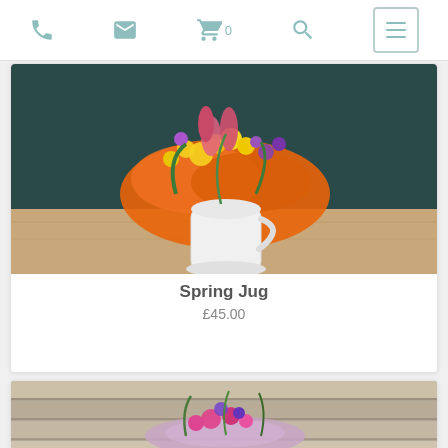Navigation header with phone, email, cart (0), search, and menu icons
[Figure (photo): Spring Jug flower arrangement in a white ceramic jug with orange wrapping, yellow mimosa, pink tulips, and purple flowers against a dark teal background]
Spring Jug
£45.00
[Figure (photo): Second flower arrangement with pink and purple flowers in a basket with lavender wrapping, placed on stone steps]